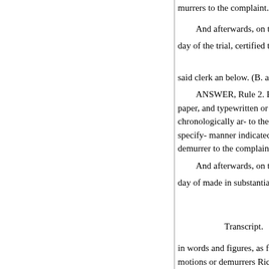murrers to the complaint.) conta
And afterwards, on the
day of the trial, certified to by th
said clerk an below. (B. and C. (
ANSWER, Rule 2. Every tra paper, and typewritten or printe chronologically ar- to the answe specify- manner indicated above demurrer to the complaint.) der
And afterwards, on the
day of made in substantially the
Transcript.
in words and figures, as follows motions or demurrers Richard R
were filed to the reply, proceed
day of (complaint.) T